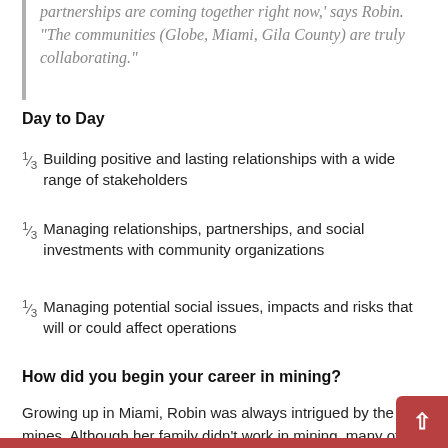partnerships are coming together right now,' says Robin. 'The communities (Globe, Miami, Gila County) are truly collaborating.'
Day to Day
⅓  Building positive and lasting relationships with a wide range of stakeholders
⅓  Managing relationships, partnerships, and social investments with community organizations
⅓  Managing potential social issues, impacts and risks that will or could affect operations
How did you begin your career in mining?
Growing up in Miami, Robin was always intrigued by the mines. Although her family didn't work in mining, many of her friends' families did.  She was impressed by the expertise required in the industry.